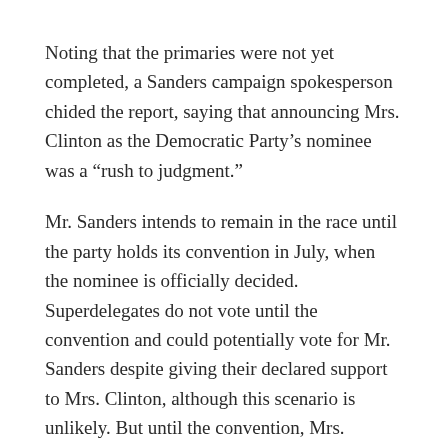Noting that the primaries were not yet completed, a Sanders campaign spokesperson chided the report, saying that announcing Mrs. Clinton as the Democratic Party's nominee was a “rush to judgment.”
Mr. Sanders intends to remain in the race until the party holds its convention in July, when the nominee is officially decided. Superdelegates do not vote until the convention and could potentially vote for Mr. Sanders despite giving their declared support to Mrs. Clinton, although this scenario is unlikely. But until the convention, Mrs. Clinton remains the “presuмptive,” unofficial nominee.
The primary elections on Tuesday will be held in California, New Jersey, North Dakota, South Dakota, Montana, and New Mexico.